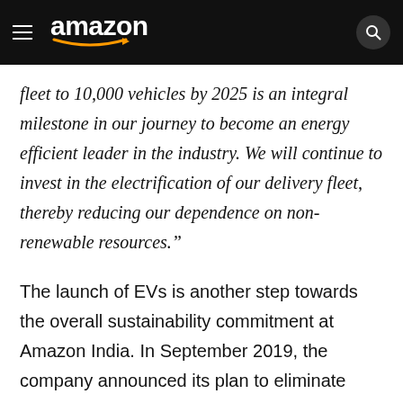amazon
fleet to 10,000 vehicles by 2025 is an integral milestone in our journey to become an energy efficient leader in the industry. We will continue to invest in the electrification of our delivery fleet, thereby reducing our dependence on non-renewable resources.”
The launch of EVs is another step towards the overall sustainability commitment at Amazon India. In September 2019, the company announced its plan to eliminate single-use